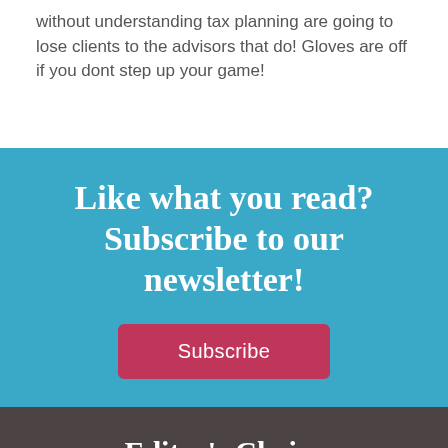without understanding tax planning are going to lose clients to the advisors that do! Gloves are off if you dont step up your game!
Like what you read? Subscribe to our newsletter!
Subscribe
Editor's Choice